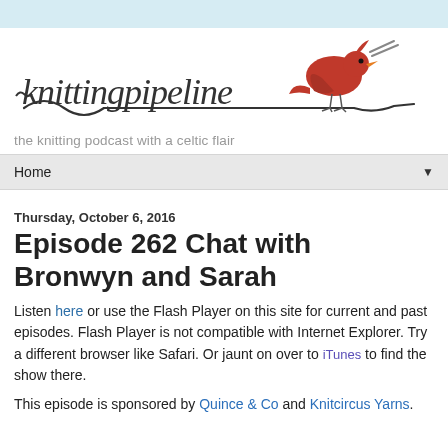[Figure (logo): Knitting Pipeline logo with a red cardinal bird perched on a wire with knitting needles, text reads 'knittingpipeline']
the knitting podcast with a celtic flair
Home ▼
Thursday, October 6, 2016
Episode 262 Chat with Bronwyn and Sarah
Listen here or use the Flash Player on this site for current and past episodes. Flash Player is not compatible with Internet Explorer. Try a different browser like Safari. Or jaunt on over to iTunes to find the show there.
This episode is sponsored by Quince & Co and Knitcircus Yarns.